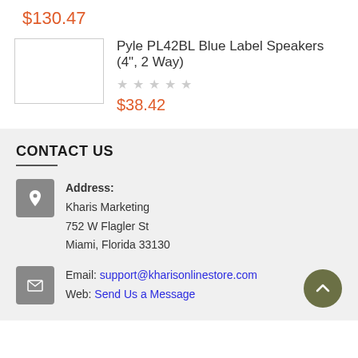$130.47
Pyle PL42BL Blue Label Speakers (4", 2 Way)
$38.42
CONTACT US
Address: Kharis Marketing 752 W Flagler St Miami, Florida 33130
Email: support@kharisonlinestore.com Web: Send Us a Message